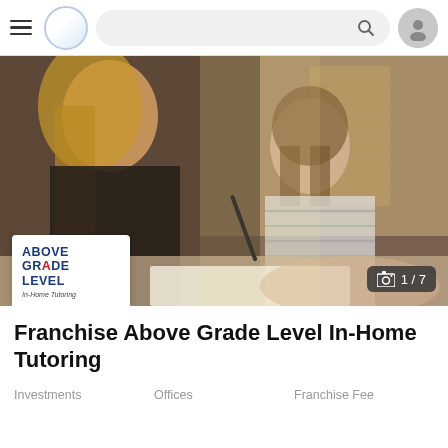Navigation bar with hamburger menu, logo circle, search bar, and profile icon
[Figure (photo): Photo of a blonde adult woman tutoring a young girl writing at a table; Above Grade Level In-Home Tutoring logo overlay in bottom-left; camera icon badge showing 1/7 in bottom-right]
Franchise Above Grade Level In-Home Tutoring
Investments   Offices   Franchise Fee